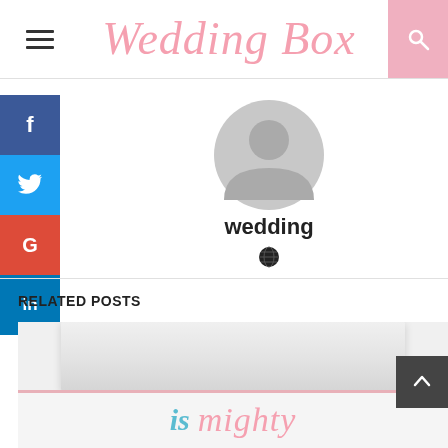Wedding Box
[Figure (illustration): Default user avatar icon — grey circle with person silhouette]
wedding
[Figure (illustration): Globe / website icon]
RELATED POSTS
[Figure (photo): Product box images — two white/grey boxes stacked, bottom box shows 'is mighty' text in teal and pink italic fonts]